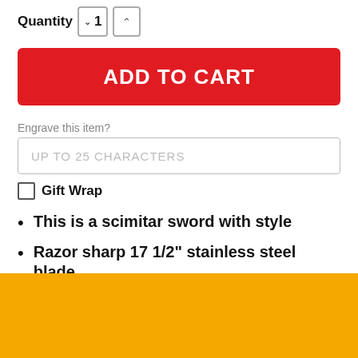Quantity 1
ADD TO CART
Engrave this item?
UP TO 25 CHARACTERS
Gift Wrap
This is a scimitar sword with style
Razor sharp 17 1/2" stainless steel blade
Powerful full tang construction